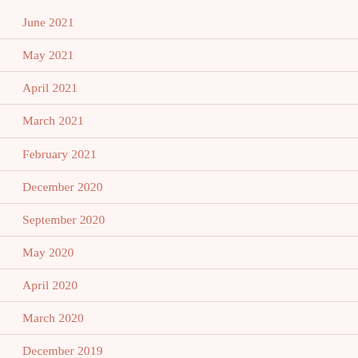June 2021
May 2021
April 2021
March 2021
February 2021
December 2020
September 2020
May 2020
April 2020
March 2020
December 2019